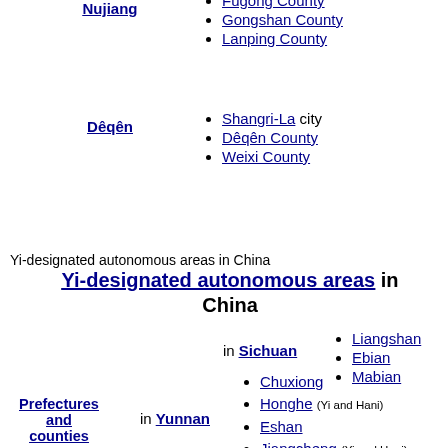Nujiang
Fugong County
Gongshan County
Lanping County
Dêqên
Shangri-La city
Dêqên County
Weixi County
Yi-designated autonomous areas in China
Yi-designated autonomous areas in China
in Sichuan
Liangshan
Ebian
Mabian
Prefectures and counties
in Yunnan
Chuxiong
Honghe (Yi and Hani)
Eshan
Jiangcheng (Yi and Hani)
Jingdong
Luquan (Yi and Miao)
Nanjian
Ninglang
Pu'er (Yi and Hani)
Shilin